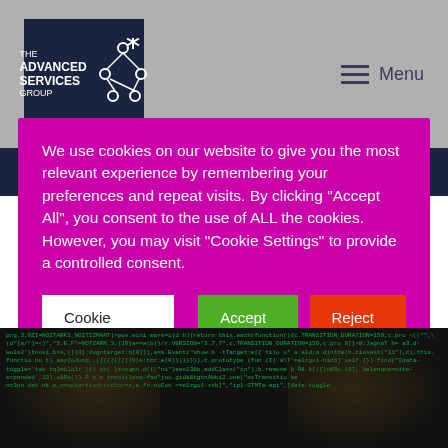[Figure (logo): The Advanced Services Group logo — dark navy rectangle with white text and network/node icon]
Menu
We use cookies on our website to give you the most relevant experience by remembering your preferences and repeat visits. By clicking "Accept All", you consent to the use of ALL the cookies. However, you may visit "Cookie Settings" to provide a controlled consent.
Cookie Settings
Accept All
Reject All
[Figure (screenshot): Dark background with overlaid JavaScript/code text in green, with robot/AI face imagery visible beneath]